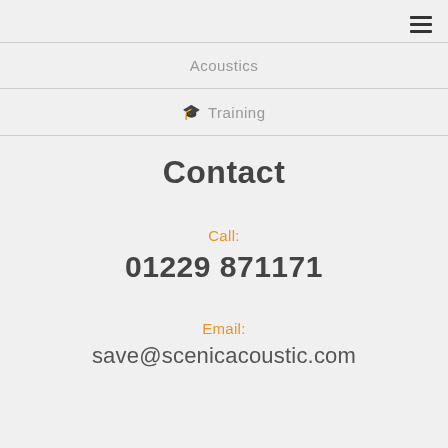Acoustics
Training
Contact
Call:
01229 871171
Email:
save@scenicacoustic.com